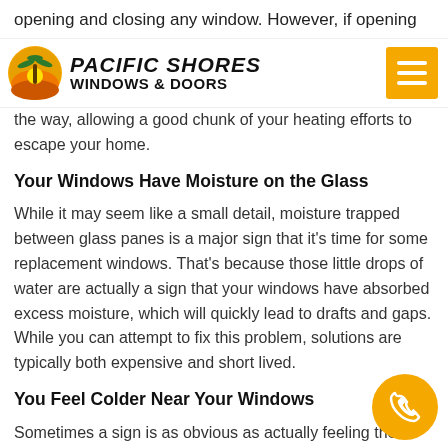opening and closing any window. However, if opening your window feels more like a full blown workout than a simple task
[Figure (logo): Pacific Shores Windows & Doors logo with palm tree circle icon and hamburger menu button]
the way, allowing a good chunk of your heating efforts to escape your home.
Your Windows Have Moisture on the Glass
While it may seem like a small detail, moisture trapped between glass panes is a major sign that it's time for some replacement windows. That's because those little drops of water are actually a sign that your windows have absorbed excess moisture, which will quickly lead to drafts and gaps. While you can attempt to fix this problem, solutions are typically both expensive and short lived.
You Feel Colder Near Your Windows
Sometimes a sign is as obvious as actually feeling the draft. If you